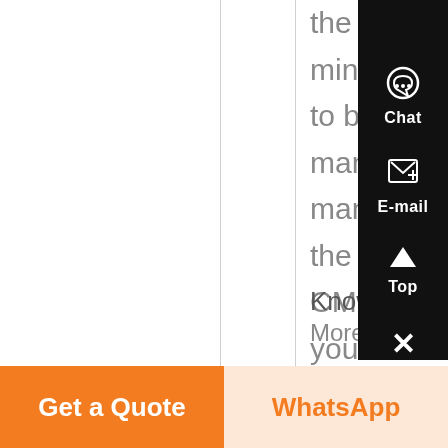the aggregate and mining industries, to bedding and manure management in the dairy industry. CM can provide you with a solution to meet your needs ,We are a professional mining machinery manufacturer,...
Know More
[Figure (screenshot): Right sidebar with dark background containing Chat (headphone icon), E-mail (document icon), Top (arrow up), and close (X) buttons in white on black]
Get a Quote
WhatsApp